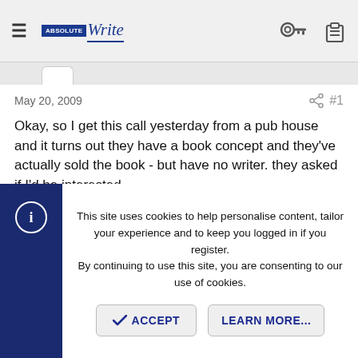AbsoluteWrite — navigation bar with logo, hamburger menu, key icon, clipboard icon
May 20, 2009   #1
Okay, so I get this call yesterday from a pub house and it turns out they have a book concept and they've actually sold the book - but have no writer. they asked if I'd be interested.

Me:
"Umm...let me think....write a book..uhhh.
Yeah."

Anyway, no formal offer yet, but they're calling back next week to have a little pow wow. Cool - I think.
This site uses cookies to help personalise content, tailor your experience and to keep you logged in if you register.
By continuing to use this site, you are consenting to our use of cookies.